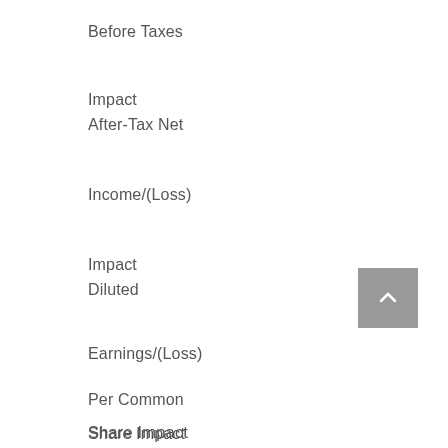Before Taxes
Impact
After-Tax Net
Income/(Loss)
Impact
Diluted
Earnings/(Loss)
Per Common
Share Impact
Three Months Ended March 31, 2015
Loss on settlement of Freightliner acquisition-related foreign currency